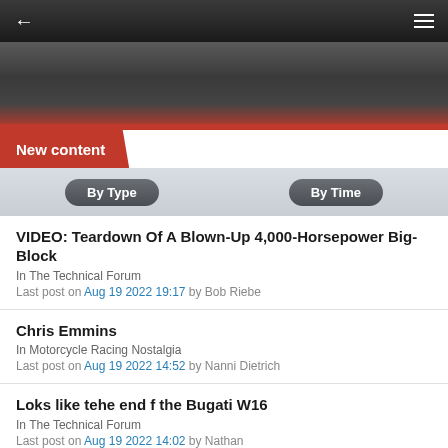← ≡
[Figure (screenshot): Dark banner/header area with gradient background]
New content
By Type | By Time
VIDEO: Teardown Of A Blown-Up 4,000-Horsepower Big-Block
In The Technical Forum
Last post on Aug 19 2022 19:17 by Bob Riebe
Chris Emmins
In Motorcycle Racing Nostalgia
Last post on Aug 19 2022 14:52 by Nanni Dietrich
Loks like tehe end f the Bugati W16
In The Technical Forum
Last post on Aug 19 2022 14:02 by Nathan
World's easiest V8 engine change layout
In The Technical Forum
Last post on Aug 18 2022 17:50 by Magoo